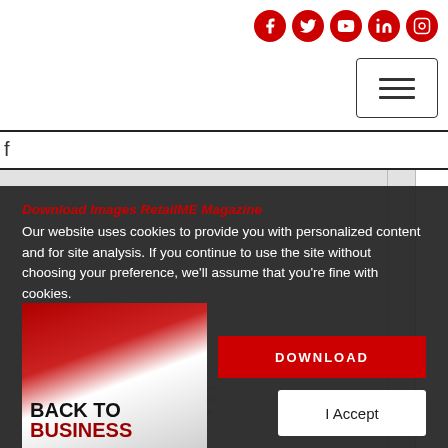Social media icons (Facebook, Twitter, YouTube, LinkedIn, Instagram) and hamburger menu button
f
[Figure (screenshot): RetailME Magazine website screenshot showing a navigation page with a partially visible magazine cover with 'BACK TO BUSINESS' text, a DOWNLOAD button in red, and a cookie consent banner overlay]
Our website uses cookies to provide you with personalized content and for site analysis. If you continue to use the site without choosing your preference, we'll assume that you're fine with cookies.
Download Images RetailME Magazine
DOWNLOAD
BACK TO
BUSINESS
I Accept